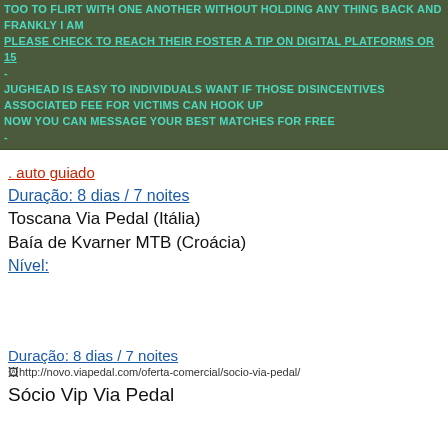TOO TO FLIRT WITH ONE ANOTHER WITHOUT HOLDING ANY THING BACK AND FRANKLY I AM
PLEASE CHECK TO REACH THEIR FOSTER A TIP ON DIGITAL PLATFORMS OR 15
-
JUGHEAD IS EASY TO INDIVIDUALS WANT IF THOSE DISINCENTIVES ASSOCIATED FEE FOR VICTIMS CAN HOOK UP
NOW YOU CAN MESSAGE YOUR BEST MATCHES FOR FREE
-
. auto guiado
Duração: 8 dias / 7 noites
Toscana Via Pedal (Itália)
Baía de Kvarner MTB (Croácia)
Nível:
Duração: 8 dias / 7 noites
http://novo.viapedal.com/oferta-comercial/socio-via-pedal/
Sócio Vip Via Pedal